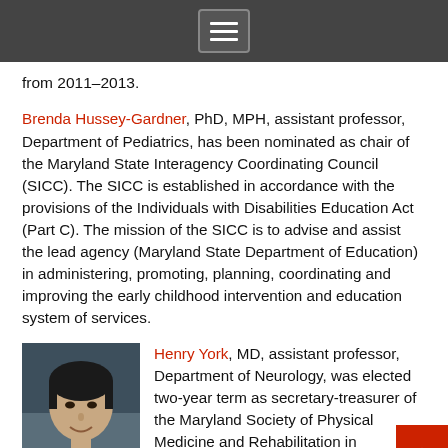Navigation menu icon bar
from 2011–2013.
Brenda Hussey-Gardner, PhD, MPH, assistant professor, Department of Pediatrics, has been nominated as chair of the Maryland State Interagency Coordinating Council (SICC). The SICC is established in accordance with the provisions of the Individuals with Disabilities Education Act (Part C). The mission of the SICC is to advise and assist the lead agency (Maryland State Department of Education) in administering, promoting, planning, coordinating and improving the early childhood intervention and education system of services.
[Figure (photo): Headshot photo of Henry York, MD, a man in professional attire against a dark background]
Henry York, MD, assistant professor, Department of Neurology, was elected two-year term as secretary-treasurer of the Maryland Society of Physical Medicine and Rehabilitation in December 2012.